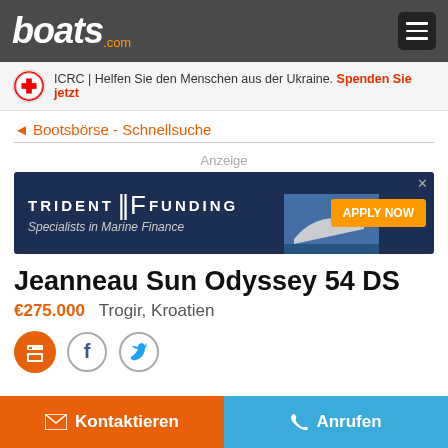boats.com
[Figure (infographic): ICRC Red Cross banner: ICRC | Helfen Sie den Menschen aus der Ukraine. Spenden Sie jetzt]
◄ Bootsbörse - Schnellsuche
Anzeige
[Figure (infographic): Trident Funding advertisement - Specialists in Marine Finance - Apply Now]
Jeanneau Sun Odyssey 54 DS
€275.000   Trogir, Kroatien
[Figure (infographic): Social sharing icons: print (orange), Facebook, Twitter]
Kontaktieren   Anrufen